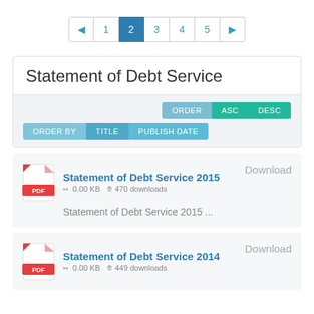Pagination: ◄ 1 2 3 4 5 ►
Statement of Debt Service
ORDER BY  TITLE  PUBLISH DATE  |  ORDER  ASC  DESC
Statement of Debt Service 2015  Download
▪▪ 0.00 KB  ⇩ 470 downloads
Statement of Debt Service 2015 ...
Statement of Debt Service 2014  Download
▪▪ 0.00 KB  ⇩ 449 downloads